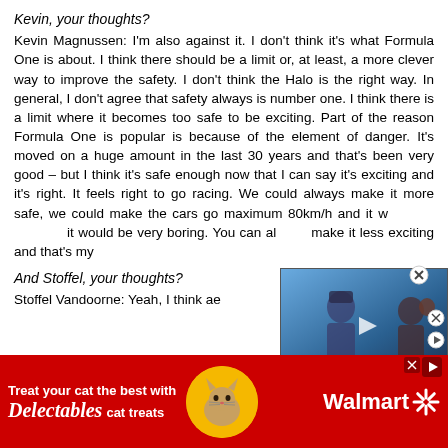Kevin, your thoughts?
Kevin Magnussen: I'm also against it. I don't think it's what Formula One is about. I think there should be a limit or, at least, a more clever way to improve the safety. I don't think the Halo is the right way. In general, I don't agree that safety always is number one. I think there is a limit where it becomes too safe to be exciting. Part of the reason Formula One is popular is because of the element of danger. It's moved on a huge amount in the last 30 years and that's been very good – but I think it's safe enough now that I can say it's exciting and it's right. It feels right to go racing. We could always make it more safe, we could make the cars go maximum 80km/h and it w[obscured by overlay] it would be very boring. You can al[obscured] make it less exciting and that's my[obscured]
[Figure (screenshot): Video overlay showing an F1 driver, with SI badge and caption about eight-time grand prix winner being the only McLaren driver to win an F1 race in the last decade, now a free agent.]
And Stoffel, your thoughts?
Stoffel Vandoorne: Yeah, I think ae[obscured by overlay]
[Figure (photo): Walmart advertisement banner: red background with 'Treat your cat the best with Delectables cat treats' text, yellow circle with cat image, and Walmart logo with spark symbol.]